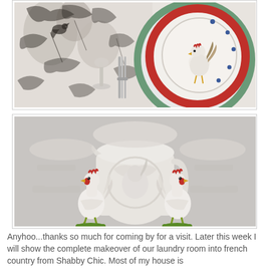[Figure (photo): Close-up of a table setting with a black-and-white toile tablecloth featuring birds, a fork, a glass, and stacked plates with a red rim and a rooster painted design on the top plate.]
[Figure (photo): Shelf display of two white ceramic rooster figurines with red combs and green bases flanking a large white embossed ceramic pitcher/jar, with white plates and pedestals in the background.]
Anyhoo...thanks so much for coming by for a visit. Later this week I will show the complete makeover of our laundry room into french country from Shabby Chic. Most of my house is